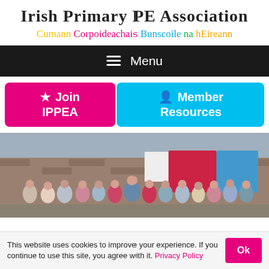Irish Primary PE Association
Cumann Corpoideachais Bunscoile na hEireann
Menu
Join IPPEA
Member Resources
[Figure (photo): Group photo of approximately 20 people standing in front of a brick building with banners, including what appears to be a PE event or workshop.]
This website uses cookies to improve your experience. If you continue to use this site, you agree with it. Privacy Policy